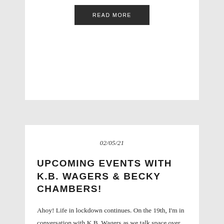[Figure (other): READ MORE button — dark grey rectangle with white uppercase spaced text]
02/05/21
UPCOMING EVENTS WITH K.B. WAGERS & BECKY CHAMBERS!
Ahoy! Life in lockdown continues. On the 19th, I'm in conversation with K.B. Wagers as we talk space over on Orbit's Crowdcast! Can't wait–K.B has become a buddy on Twitter so it'll be nice to speak with actual voices. Grab a ticket! On the 24th, I'm